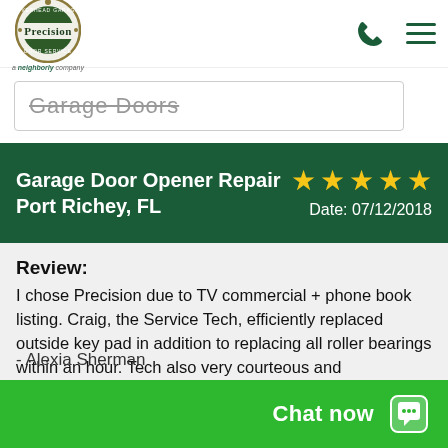[Figure (logo): Precision Overhead Garage Door Service logo — circular emblem with 'a neighborly company' tagline below]
Garage Doors
Garage Door Opener Repair Port Richey, FL ★★★★★ Date: 07/12/2018
Review:
I chose Precision due to TV commercial + phone book listing. Craig, the Service Tech, efficiently replaced outside key pad in addition to replacing all roller bearings within an hour. Tech also very courteous and professional.
- Alexia Sherman
Chat now